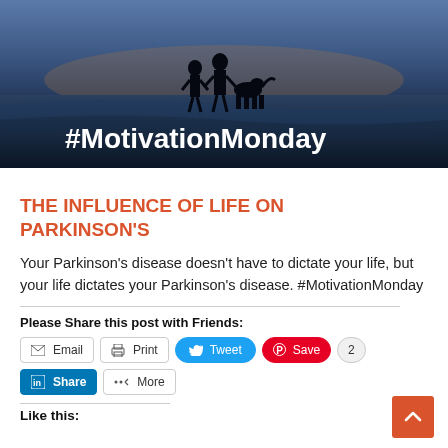[Figure (photo): Dark atmospheric photo of silhouettes of two people and a dog on a beach at sunset/dusk, with ocean in background. White bold text overlay reads #MotivationMonday]
THE INFLUENCE OF LIFE ON PARKINSON'S
Your Parkinson’s disease doesn’t have to dictate your life, but your life dictates your Parkinson’s disease. #MotivationMonday
Please Share this post with Friends:
Email | Print | Tweet | Save 2 | Share | More
Like this: